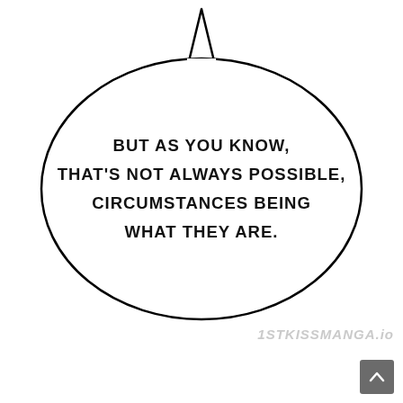[Figure (illustration): Manga speech bubble (oval with tail pointing upward) containing the text: BUT AS YOU KNOW, THAT'S NOT ALWAYS POSSIBLE, CIRCUMSTANCES BEING WHAT THEY ARE.]
BUT AS YOU KNOW, THAT'S NOT ALWAYS POSSIBLE, CIRCUMSTANCES BEING WHAT THEY ARE.
1STKISSMANGA.io